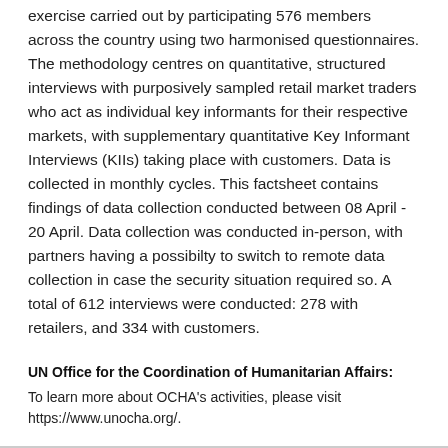exercise carried out by participating 576 members across the country using two harmonised questionnaires. The methodology centres on quantitative, structured interviews with purposively sampled retail market traders who act as individual key informants for their respective markets, with supplementary quantitative Key Informant Interviews (KIIs) taking place with customers. Data is collected in monthly cycles. This factsheet contains findings of data collection conducted between 08 April - 20 April. Data collection was conducted in-person, with partners having a possibilty to switch to remote data collection in case the security situation required so. A total of 612 interviews were conducted: 278 with retailers, and 334 with customers.
UN Office for the Coordination of Humanitarian Affairs:
To learn more about OCHA's activities, please visit https://www.unocha.org/.